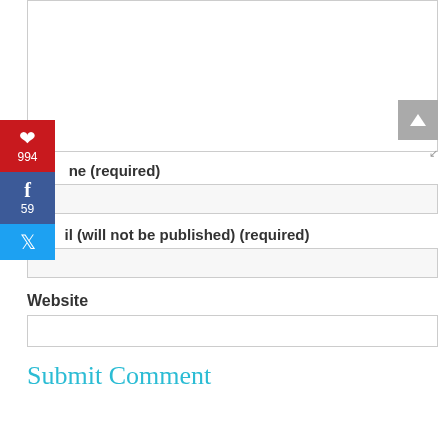[Figure (screenshot): Text area input box (comment field) with a scroll-to-top button and resize handle in the top portion of the page]
[Figure (infographic): Social sharing sidebar with Pinterest (994), Facebook (59), and Twitter buttons]
Name (required)
Mail (will not be published) (required)
Website
Submit Comment